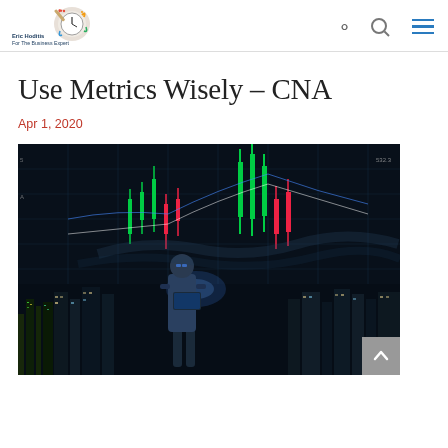Eric Hoditis For The Business Expert
Use Metrics Wisely – CNA
Apr 1, 2020
[Figure (photo): A person in business attire standing and holding a tablet/laptop, silhouetted against a night city skyline with financial chart overlays (candlestick charts) in the background.]